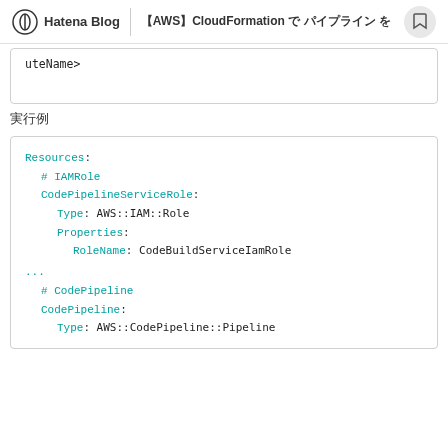Hatena Blog | 【AWS】CloudFormation で パイプライン を
uteName>
実行例
Resources:
  # IAMRole
  CodePipelineServiceRole:
    Type: AWS::IAM::Role
    Properties:
      RoleName: CodeBuildServiceIamRole
...
  # CodePipeline
  CodePipeline:
    Type: AWS::CodePipeline::Pipeline